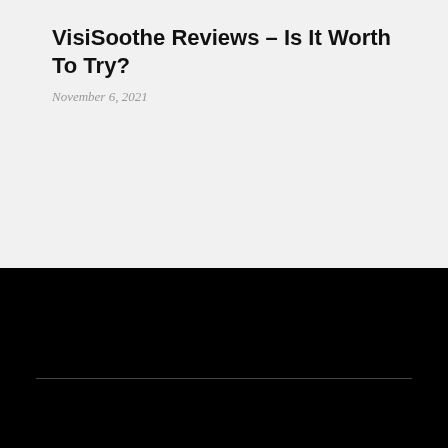VisiSoothe Reviews – Is It Worth To Try?
November 6, 2021